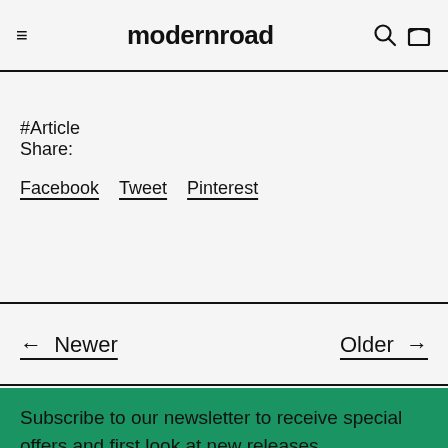modernroad
#Article
Share:
Facebook  Tweet  Pinterest
← Newer   Older →
Subscribe to our newsletter to receive special offers and first look at new releases.
Email address
Subscribe